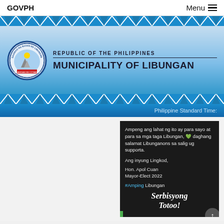GOVPH    Menu
[Figure (screenshot): Municipality of Libungan official website header banner with seal/logo and text REPUBLIC OF THE PHILIPPINES MUNICIPALITY OF LIBUNGAN on blue gradient background with zigzag borders]
Philippine Standard Time:
[Figure (screenshot): Social media post screenshot on dark background: Ampeng ang lahat ng ito ay para sayo at para sa mga taga Libungan, green heart daghang salamat Libunganons sa salig ug supporta. Ang inyung Lingkod, Hon. Apol Cuan Mayor-Elect 2022 #Amping Libungan Serbisyong Totoo!]